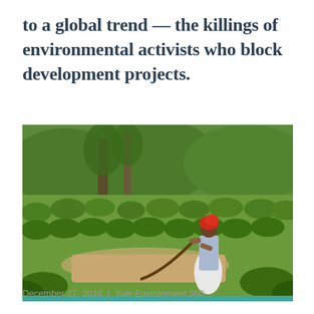to a global trend — the killings of environmental activists who block development projects.
[Figure (photo): A woman wearing a red headwrap and light blue blouse with a white patterned skirt stands in a lush green tea or coffee plantation, holding a curved branch or tool. Tall trees are visible in the background. The foreground shows dry grass and low shrubs.]
December 27, 2016 | Yale Environment 360